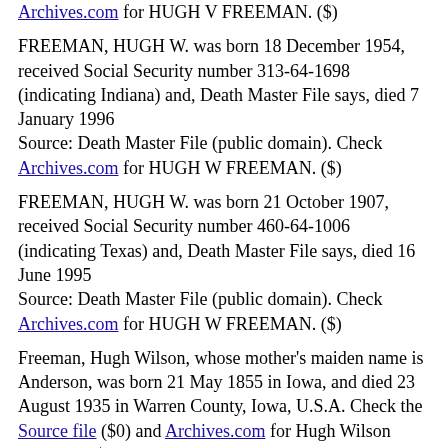Archives.com for HUGH V FREEMAN. ($)
FREEMAN, HUGH W. was born 18 December 1954, received Social Security number 313-64-1698 (indicating Indiana) and, Death Master File says, died 7 January 1996
Source: Death Master File (public domain). Check Archives.com for HUGH W FREEMAN. ($)
FREEMAN, HUGH W. was born 21 October 1907, received Social Security number 460-64-1006 (indicating Texas) and, Death Master File says, died 16 June 1995
Source: Death Master File (public domain). Check Archives.com for HUGH W FREEMAN. ($)
Freeman, Hugh Wilson, whose mother's maiden name is Anderson, was born 21 May 1855 in Iowa, and died 23 August 1935 in Warren County, Iowa, U.S.A. Check the Source file ($0) and Archives.com for Hugh Wilson Freeman. ($)